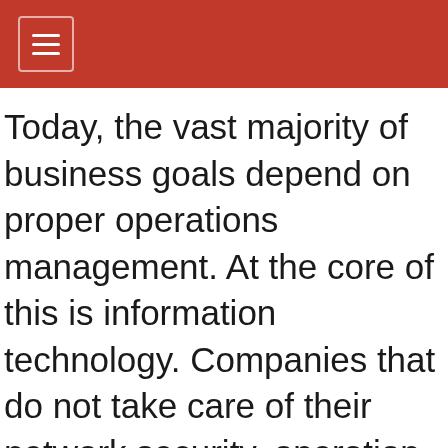≡
Today, the vast majority of business goals depend on proper operations management. At the core of this is information technology. Companies that do not take care of their network security, operation system, and data centers will have a hard time keeping up with the competition. Therefore, every company must think about industry trends, manage their legacy systems appropriately, and prioritize their management services and service delivery. Only with the proper support systems and support